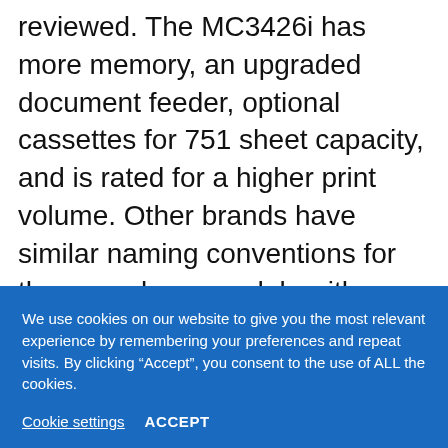reviewed. The MC3426i has more memory, an upgraded document feeder, optional cassettes for 751 sheet capacity, and is rated for a higher print volume. Other brands have similar naming conventions for the same base models with upgrades.
We use cookies on our website to give you the most relevant experience by remembering your preferences and repeat visits. By clicking “Accept”, you consent to the use of ALL the cookies.
Cookie settings   ACCEPT